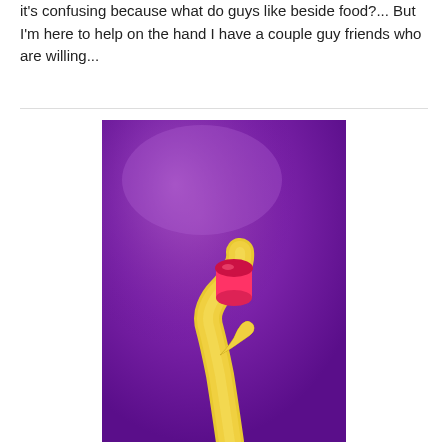it's confusing because what do guys like beside food?... But I'm here to help on the hand I have a couple guy friends who are willing...
[Figure (photo): Photo of a banana (yellow) holding a pink cup/tube object against a vibrant purple background]